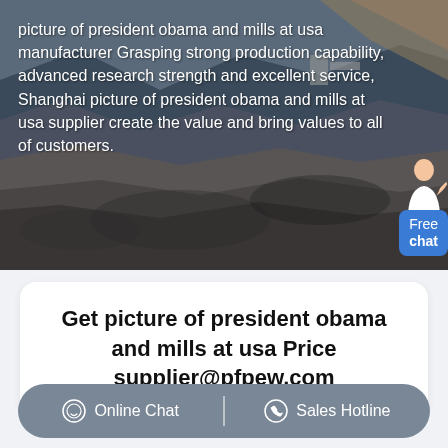[Figure (photo): Aerial/overhead view of an open-pit mining site with heavy machinery and earth mounds, dark grey rocky terrain]
picture of president obama and mills at usa manufacturer Grasping strong production capability, advanced research strength and excellent service, Shanghai picture of president obama and mills at usa supplier create the value and bring values to all of customers.
Get picture of president obama and mills at usa Price supplier@pfpew.com
Online Chat  |  Sales Hotline